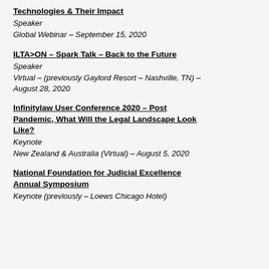Technologies & Their Impact
Speaker
Global Webinar – September 15, 2020
ILTA>ON – Spark Talk – Back to the Future
Speaker
Virtual – (previously Gaylord Resort – Nashville, TN) – August 28, 2020
Infinitylaw User Conference 2020 – Post Pandemic, What Will the Legal Landscape Look Like?
Keynote
New Zealand & Australia (Virtual) – August 5, 2020
National Foundation for Judicial Excellence Annual Symposium
Keynote (previously – Loews Chicago Hotel)